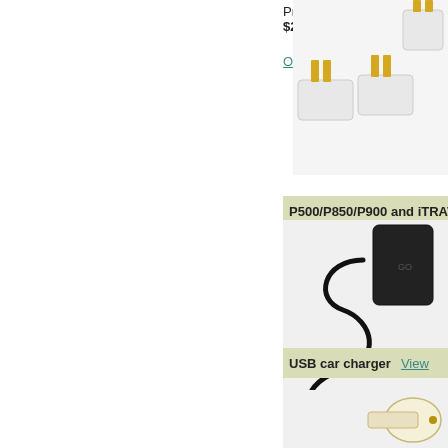Price: $24.95
Order Now
[Figure (photo): Power adapter plugs with gold pins on white background]
P500/P850/P900 and iTRAVL D
Price: $24.95
Order Now
[Figure (photo): Black AC power adapter with coiled cable and micro connector]
USB car charger  View
Price: $19.95
Order Now
[Figure (photo): USB car charger in cream/gold color]